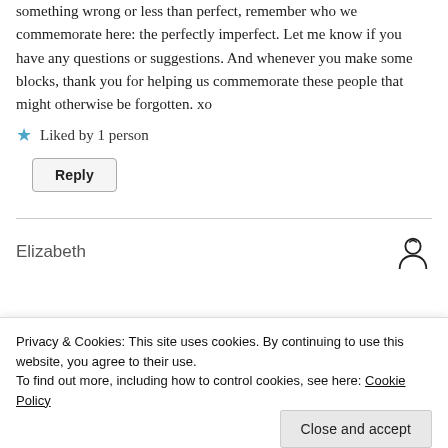something wrong or less than perfect, remember who we commemorate here: the perfectly imperfect. Let me know if you have any questions or suggestions. And whenever you make some blocks, thank you for helping us commemorate these people that might otherwise be forgotten. xo
Liked by 1 person
Reply
Elizabeth
Privacy & Cookies: This site uses cookies. By continuing to use this website, you agree to their use.
To find out more, including how to control cookies, see here: Cookie Policy
Close and accept